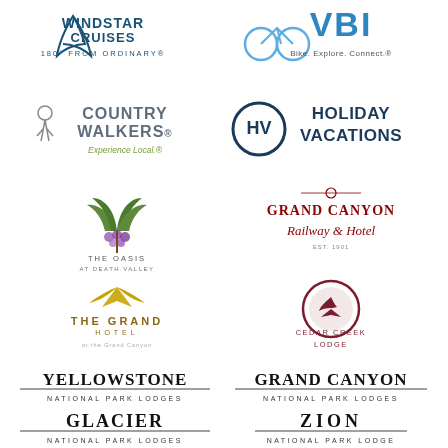[Figure (logo): Windstar Cruises logo - 180° From Ordinary]
[Figure (logo): VBI Bike. Explore. Connect. logo]
[Figure (logo): Country Walkers - Experience Local logo]
[Figure (logo): Holiday Vacations HV logo]
[Figure (logo): The Oasis at Death Valley logo]
[Figure (logo): Grand Canyon Railway & Hotel logo]
[Figure (logo): The Grand Hotel at the Grand Canyon logo]
[Figure (logo): Cedar Creek Lodge logo]
[Figure (logo): Yellowstone National Park Lodges logo]
[Figure (logo): Grand Canyon National Park Lodges logo]
[Figure (logo): Glacier National Park Lodges logo]
[Figure (logo): Zion National Park Lodge logo]
[Figure (logo): Mount Rushmore National Memorial logo]
[Figure (logo): Rocky Mountain National Park logo]